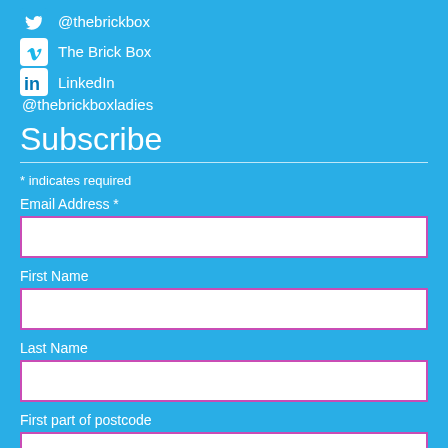@thebrickbox
The Brick Box
LinkedIn @thebrickboxladies
Subscribe
* indicates required
Email Address *
First Name
Last Name
First part of postcode